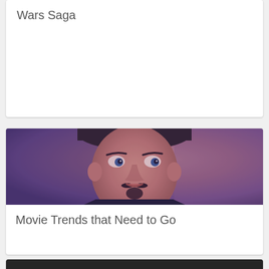Wars Saga
[Figure (photo): Man with goatee and mustache, skeptical/side-eye expression, dark shirt, purple-toned photo]
Movie Trends that Need to Go
[Figure (photo): Partial view of another card at bottom, dark background]